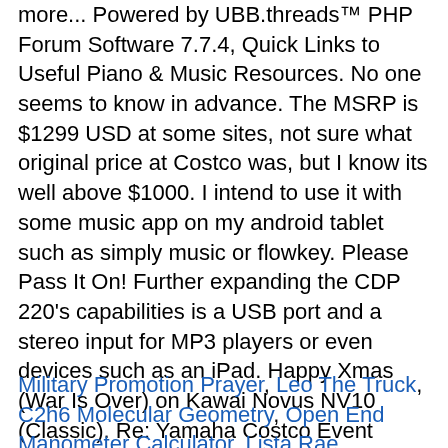more... Powered by UBB.threads™ PHP Forum Software 7.7.4, Quick Links to Useful Piano & Music Resources. No one seems to know in advance. The MSRP is $1299 USD at some sites, not sure what original price at Costco was, but I know its well above $1000. I intend to use it with some music app on my android tablet such as simply music or flowkey. Please Pass It On! Further expanding the CDP 220's capabilities is a USB port and a stereo input for MP3 players or even devices such as an iPad. Happy Xmas (War Is Over) on Kawai Novus NV10 (Classic). Re: Yamaha Costco Event What Pianos and Price? Too bad, that would have been a great deal! The CDP 220 is the digital piano you've been looking for. Costco is doing just fine thank you.
Military Promotion Prayer, Leo The Truck, C2h6 Molecular Geometry, Open End Manometer Calculator, Lista Rae Figurines Schtrumpfs,